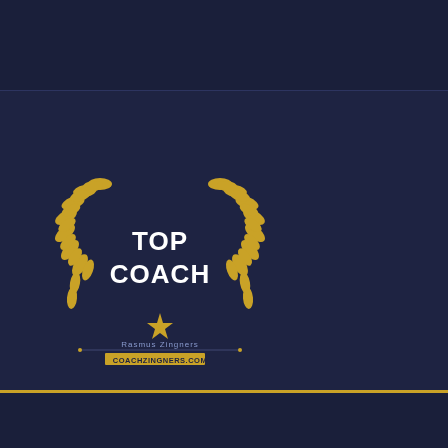[Figure (logo): Top Coach logo with golden laurel wreath, bold white text 'TOP COACH', a small star at the bottom of the wreath, subtitle text 'Rasmus Zingners' and website 'COACHZINGNERS.COM' on a dark navy background]